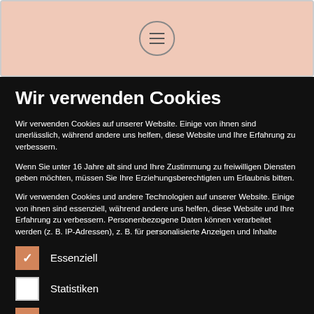[Figure (screenshot): Top navigation bar with salmon/pink background and a circular menu hamburger button in the center]
Wir verwenden Cookies
Wir verwenden Cookies auf unserer Website. Einige von ihnen sind unerlässlich, während andere uns helfen, diese Website und Ihre Erfahrung zu verbessern.
Wenn Sie unter 16 Jahre alt sind und Ihre Zustimmung zu freiwilligen Diensten geben möchten, müssen Sie Ihre Erziehungsberechtigten um Erlaubnis bitten.
Wir verwenden Cookies und andere Technologien auf unserer Website. Einige von ihnen sind essenziell, während andere uns helfen, diese Website und Ihre Erfahrung zu verbessern. Personenbezogene Daten können verarbeitet werden (z. B. IP-Adressen), z. B. für personalisierte Anzeigen und Inhalte
Essenziell
Statistiken
Externe Medien